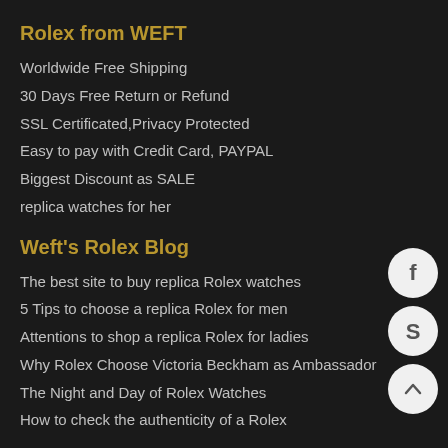Rolex from WEFT
Worldwide Free Shipping
30 Days Free Return or Refund
SSL Certificated,Privacy Protected
Easy to pay with Credit Card, PAYPAL
Biggest Discount as SALE
replica watches for her
Weft's Rolex Blog
The best site to buy replica Rolex watches
5 Tips to choose a replica Rolex for men
Attentions to shop a replica Rolex for ladies
Why Rolex Choose Victoria Beckham as Ambassador
The Night and Day of Rolex Watches
How to check the authenticity of a Rolex